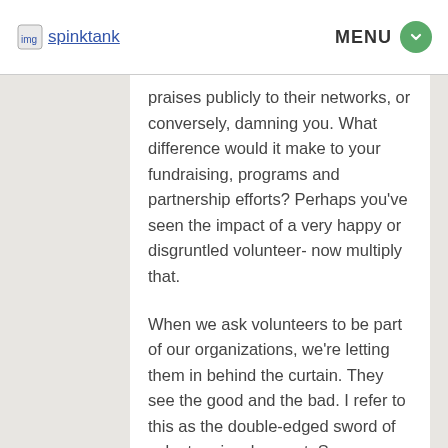spinktank  MENU
praises publicly to their networks, or conversely, damning you. What difference would it make to your fundraising, programs and partnership efforts? Perhaps you've seen the impact of a very happy or disgruntled volunteer- now multiply that.
When we ask volunteers to be part of our organizations, we're letting them in behind the curtain. They see the good and the bad. I refer to this as the double-edged sword of volunteer involvement. Some use this as a